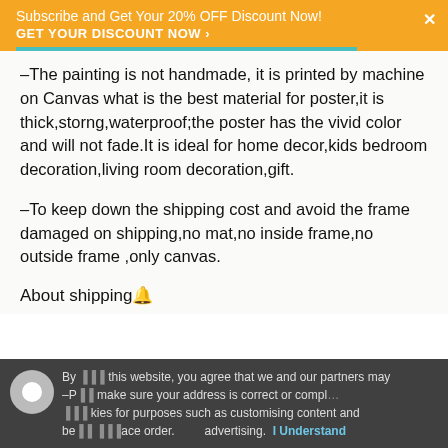Subscribe and Get Your 20% OFF Discount Now! GET YOUR DISCOUNT NOW ›
–The painting is not handmade, it is printed by machine on Canvas what is the best material for poster,it is thick,storng,waterproof;the poster has the vivid color and will not fade.It is ideal for home decor,kids bedroom decoration,living room decoration,gift.
–To keep down the shipping cost and avoid the frame damaged on shipping,no mat,no inside frame,no outside frame ,only canvas.
About shipping🔔
By using this website, you agree that we and our partners may –Please make sure your address is correct or compl… kies for purposes such as customising content and be… place order. advertising. I Understand